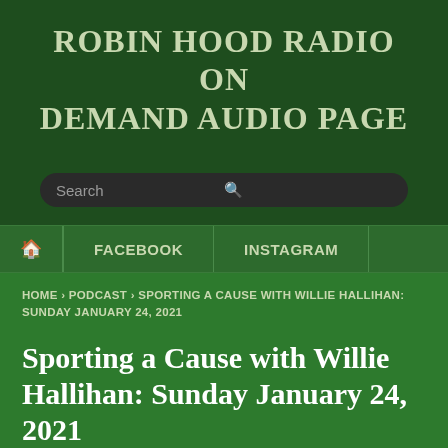ROBIN HOOD RADIO ON DEMAND AUDIO PAGE
[Figure (screenshot): Search bar with dark background and search icon]
🏠 FACEBOOK INSTAGRAM
HOME › PODCAST › SPORTING A CAUSE WITH WILLIE HALLIHAN: SUNDAY JANUARY 24, 2021
Sporting a Cause with Willie Hallihan: Sunday January 24, 2021
BY EDITOR on JANUARY 24, 2021 • 🗨 ( 0 )
OUR MISSION